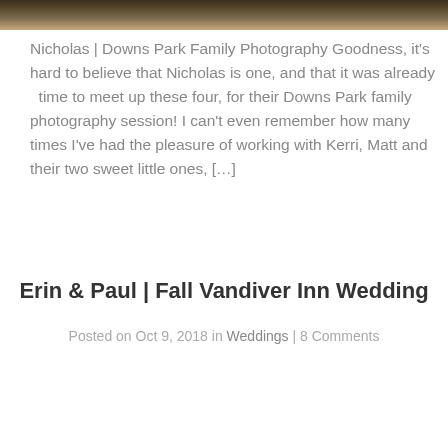[Figure (photo): Outdoor family photo strip showing silhouettes of people against a warm sunset sky with trees]
Nicholas | Downs Park Family Photography Goodness, it's hard to believe that Nicholas is one, and that it was already  time to meet up these four, for their Downs Park family photography session! I can't even remember how many times I've had the pleasure of working with Kerri, Matt and their two sweet little ones, […]
Erin & Paul | Fall Vandiver Inn Wedding
Posted on Oct 9, 2018 in Weddings | 8 Comments